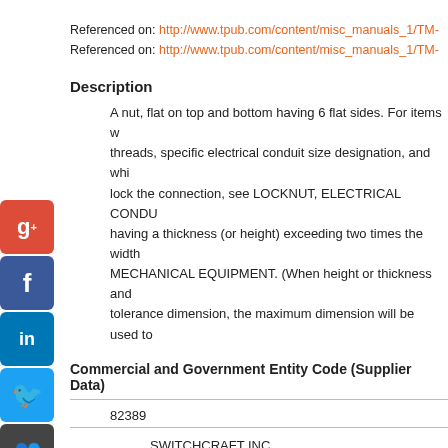Referenced on: http://www.tpub.com/content/misc_manuals_1/TM-...
Referenced on: http://www.tpub.com/content/misc_manuals_1/TM-...
Description
A nut, flat on top and bottom having 6 flat sides. For items w... threads, specific electrical conduit size designation, and whi... lock the connection, see LOCKNUT, ELECTRICAL CONDU... having a thickness (or height) exceeding two times the width... MECHANICAL EQUIPMENT. (When height or thickness and... tolerance dimension, the maximum dimension will be used to...
Commercial and Government Entity Code (Supplier Data)
82389
SWITCHCRAFT INC.
SUB OF RAYTHEON CO
5555 N ELSTON AVE